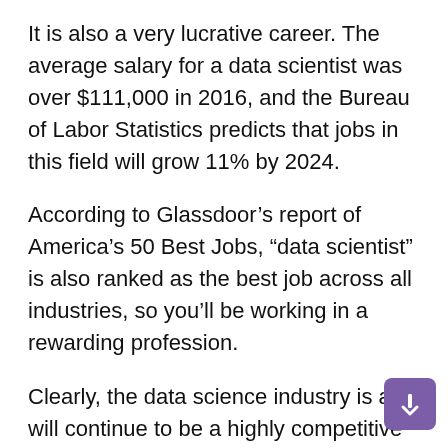It is also a very lucrative career. The average salary for a data scientist was over $111,000 in 2016, and the Bureau of Labor Statistics predicts that jobs in this field will grow 11% by 2024.
According to Glassdoor’s report of America’s 50 Best Jobs, “data scientist” is also ranked as the best job across all industries, so you’ll be working in a rewarding profession.
Clearly, the data science industry is and will continue to be a highly competitive market.
If you want to stand out from the crowd to take advantage of the opportunities a data science career has to offer, here are six global trends you need to be aware of.